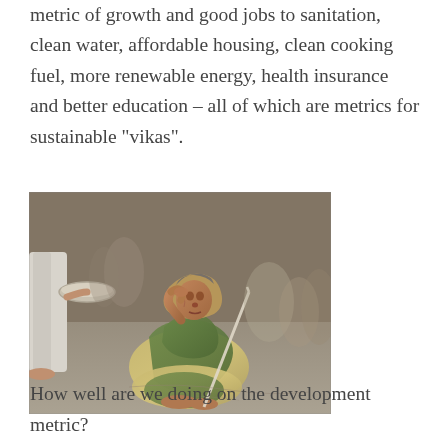metric of growth and good jobs to sanitation, clean water, affordable housing, clean cooking fuel, more renewable energy, health insurance and better education – all of which are metrics for sustainable “vikas”.
[Figure (photo): An elderly Indian woman crouching on the ground, wearing a green and tan sari, leaning on a stick, with her hand raised to her face. A person carrying a metal plate is partially visible in the background.]
How well are we doing on the development metric?